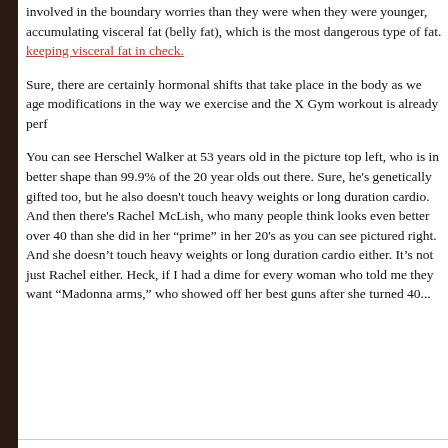involved in the boundary worries than they were when they were younger, accumulating visceral fat (belly fat), which is the most dangerous type of fat. keeping visceral fat in check.
Sure, there are certainly hormonal shifts that take place in the body as we age modifications in the way we exercise and the X Gym workout is already perf
You can see Herschel Walker at 53 years old in the picture top left, who is in better shape than 99.9% of the 20 year olds out there. Sure, he's genetically gifted too, but he also doesn't touch heavy weights or long duration cardio. And then there's Rachel McLish, who many people think looks even better over 40 than she did in her “prime” in her 20's as you can see pictured right. And she doesn't touch heavy weights or long duration cardio either. It’s not just Rachel either. Heck, if I had a dime for every woman who told me they want “Madonna arms,” who showed off her best guns after she turned 40...